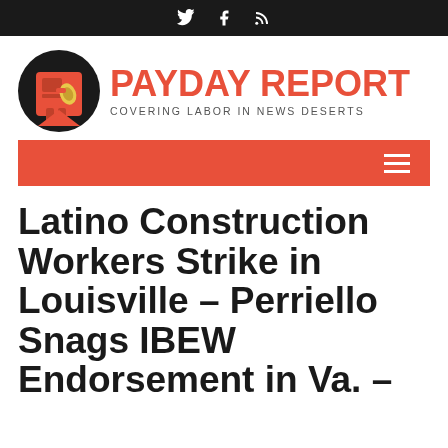Twitter, Facebook, RSS icons
[Figure (logo): Payday Report logo: circular emblem with red illustrated figure holding megaphone, next to bold red text PAYDAY REPORT with subtitle COVERING LABOR IN NEWS DESERTS]
[Figure (other): Orange/red navigation bar with hamburger menu icon on right]
Latino Construction Workers Strike in Louisville – Perriello Snags IBEW Endorsement in Va. –